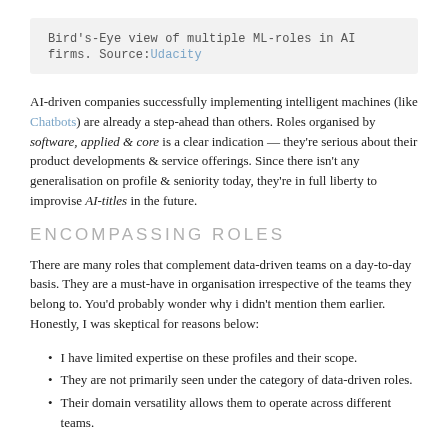Bird's-Eye view of multiple ML-roles in AI firms. Source: Udacity
AI-driven companies successfully implementing intelligent machines (like Chatbots) are already a step-ahead than others. Roles organised by software, applied & core is a clear indication — they're serious about their product developments & service offerings. Since there isn't any generalisation on profile & seniority today, they're in full liberty to improvise AI-titles in the future.
ENCOMPASSING ROLES
There are many roles that complement data-driven teams on a day-to-day basis. They are a must-have in organisation irrespective of the teams they belong to. You'd probably wonder why i didn't mention them earlier. Honestly, I was skeptical for reasons below:
I have limited expertise on these profiles and their scope.
They are not primarily seen under the category of data-driven roles.
Their domain versatility allows them to operate across different teams.